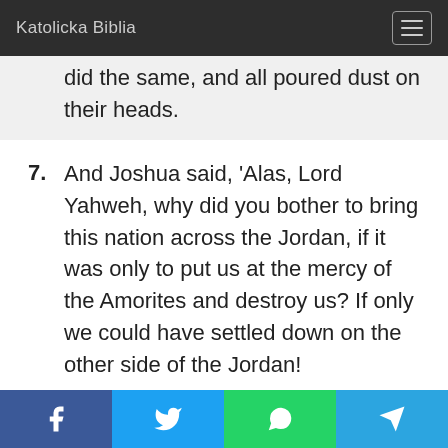Katolicka Biblia
did the same, and all poured dust on their heads.
7. And Joshua said, 'Alas, Lord Yahweh, why did you bother to bring this nation across the Jordan, if it was only to put us at the mercy of the Amorites and destroy us? If only we could have settled down on the other side of the Jordan!
8. Forgive me, Lord, but what can I say, now that Israel has turned tail on the enemy?